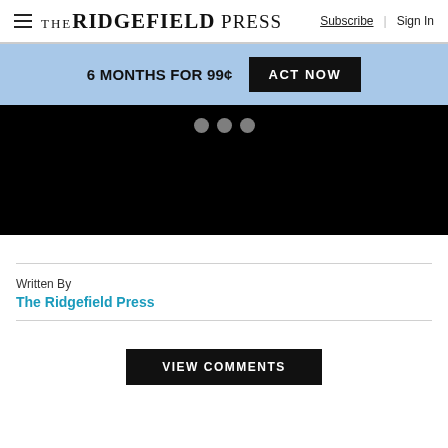The Ridgefield Press — Subscribe | Sign In
6 MONTHS FOR 99¢ ACT NOW
[Figure (screenshot): Black media/video player area with three gray loading dots at top center]
Written By
The Ridgefield Press
VIEW COMMENTS